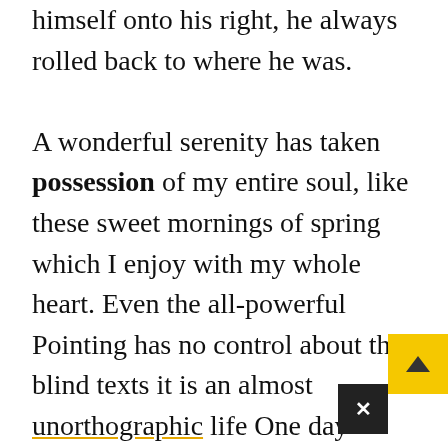himself onto his right, he always rolled back to where he was.

A wonderful serenity has taken possession of my entire soul, like these sweet mornings of spring which I enjoy with my whole heart. Even the all-powerful Pointing has no control about the blind texts it is an almost unorthographic life One day however a small line of blind text by the name of Lorem Ipsum decided to leave for the far World of Grammar. The Big Oxmox advised her not to do so, because there were thousands of bad Commas, wild Question Marks and devious Semikoli, but the Little Blind Text didn't listen.